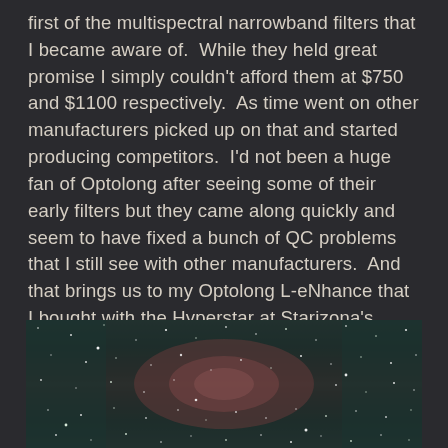first of the multispectral narrowband filters that I became aware of.  While they held great promise I simply couldn't afford them at $750 and $1100 respectively.  As time went on other manufacturers picked up on that and started producing competitors.  I'd not been a huge fan of Optolong after seeing some of their early filters but they came along quickly and seem to have fixed a bunch of QC problems that I still see with other manufacturers.  And that brings us to my Optolong L-eNhance that I bought with the Hyperstar at Starizona's recommendation.  I must say I've been fairly impressed with the results I've been able to get thus far but as you can see there is still room for improvement.
[Figure (photo): Astrophotography image showing a star field with a faint nebula visible, taken through an Optolong L-eNhance filter with a Hyperstar. Dark background with scattered stars and a reddish/pinkish nebula region in the center.]